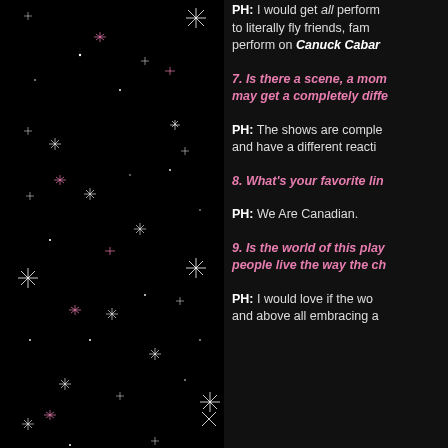[Figure (illustration): Black background with scattered sparkle/star decorations in white and pink tones]
PH: I would get all perform to literally fly friends, fam perform on Canuck Cabar
7. Is there a scene, a mome may get a completely diffe
PH: The shows are comple and have a different reacti
8. What's your favorite lin
PH: We Are Canadian.
9. Is the world of this play people live the way the ch
PH: I would love if the wo and above all embracing a